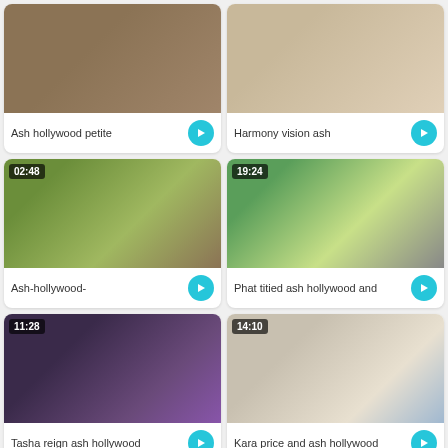[Figure (screenshot): Video thumbnail - Ash hollywood petite]
Ash hollywood petite
[Figure (screenshot): Video thumbnail - Harmony vision ash]
Harmony vision ash
[Figure (screenshot): Video thumbnail 02:48 - Ash-hollywood-]
Ash-hollywood-
[Figure (screenshot): Video thumbnail 19:24 - Phat titied ash hollywood and]
Phat titied ash hollywood and
[Figure (screenshot): Video thumbnail 11:28 - Tasha reign ash hollywood]
Tasha reign ash hollywood
[Figure (screenshot): Video thumbnail 14:10 - Kara price and ash hollywood]
Kara price and ash hollywood